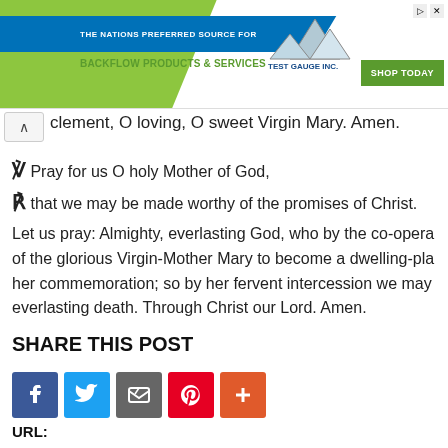[Figure (screenshot): Advertisement banner for Test Gauge Inc. - The nation's preferred source for backflow products and services]
clement, O loving, O sweet Virgin Mary. Amen.
℣ Pray for us O holy Mother of God,
℟ that we may be made worthy of the promises of Christ.
Let us pray: Almighty, everlasting God, who by the co-opera... of the glorious Virgin-Mother Mary to become a dwelling-pla... her commemoration; so by her fervent intercession we may ... everlasting death. Through Christ our Lord. Amen.
SHARE THIS POST
[Figure (infographic): Social share buttons: Facebook, Twitter, Email, Pinterest, More]
URL: